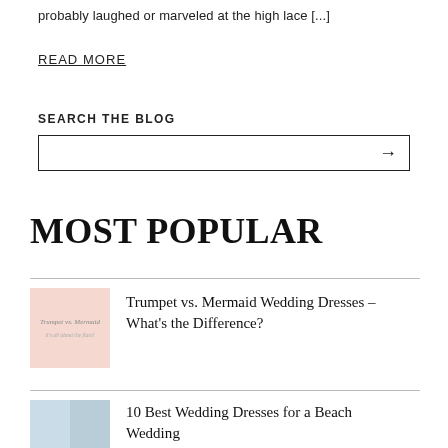probably laughed or marveled at the high lace [...]
READ MORE
SEARCH THE BLOG
[Figure (other): Search input box with arrow button]
MOST POPULAR
[Figure (other): Thumbnail image for Trumpet vs. Mermaid article, pink background with italic text]
Trumpet vs. Mermaid Wedding Dresses – What's the Difference?
[Figure (other): Thumbnail image for Beach Wedding article, beach/ocean photo split]
10 Best Wedding Dresses for a Beach Wedding